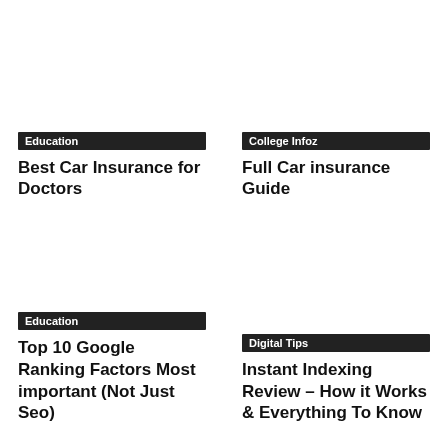Education
Best Car Insurance for Doctors
College Infoz
Full Car insurance Guide
Education
Top 10 Google Ranking Factors Most important (Not Just Seo)
Digital Tips
Instant Indexing Review – How it Works & Everything To Know